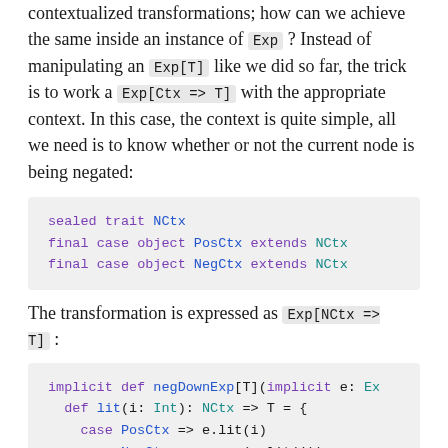contextualized transformations; how can we achieve the same inside an instance of Exp? Instead of manipulating an Exp[T] like we did so far, the trick is to work a Exp[Ctx => T] with the appropriate context. In this case, the context is quite simple, all we need is to know whether or not the current node is being negated:
sealed trait NCtx
final case object PosCtx extends NCtx
final case object NegCtx extends NCtx
The transformation is expressed as Exp[NCtx => T]:
implicit def negDownExp[T](implicit e: Ex
  def lit(i: Int): NCtx => T = {
    case PosCtx => e.lit(i)
    case NegCtx => e.neg(e.lit(i))
  }